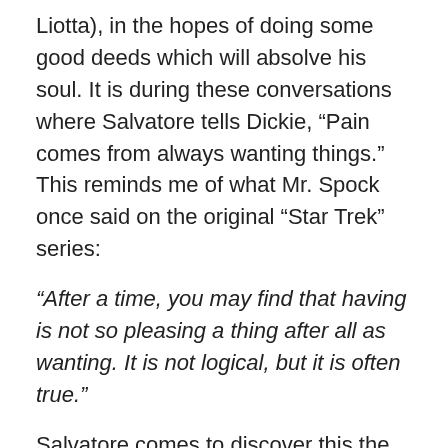Liotta), in the hopes of doing some good deeds which will absolve his soul. It is during these conversations where Salvatore tells Dickie, “Pain comes from always wanting things.” This reminds me of what Mr. Spock once said on the original “Star Trek” series:
“After a time, you may find that having is not so pleasing a thing after all as wanting. It is not logical, but it is often true.”
Salvatore comes to discover this the hard way. While he is serious about doing good deeds, some of us may remember how the road to hell is paved with them, and this is certainly the case here.